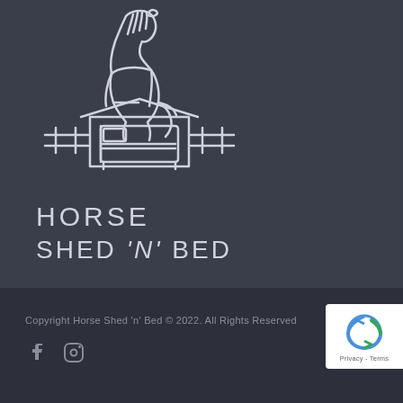[Figure (logo): Horse Shed 'n' Bed logo: white outline illustration of a horse standing over a barn/shed structure with a bed inside, fence rails on either side. Text below reads 'Horse Shed n Bed' in uppercase sans-serif letters.]
Copyright Horse Shed 'n' Bed © 2022. All Rights Reserved
[Figure (other): Social media icons: Facebook (f) and Instagram (camera) icons in muted gray]
[Figure (other): reCAPTCHA badge showing Google reCAPTCHA logo (circular arrows) and text 'Privacy - Terms']